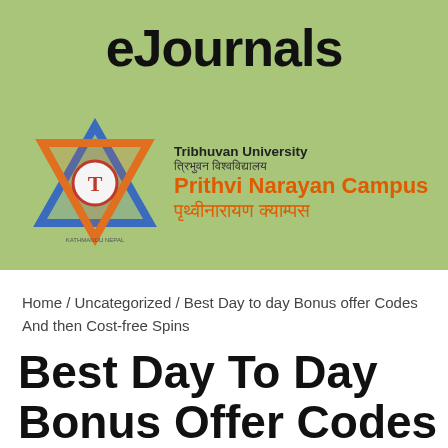eJournals
[Figure (logo): Tribhuvan University / Prithvi Narayan Campus logo with star of David geometric emblem in blue and orange, with text: Tribhuvan University, त्रिभुवन विश्वविद्यालय, Prithvi Narayan Campus, पृथ्वीनारायण क्याम्पस]
Home / Uncategorized / Best Day to day Bonus offer Codes And then Cost-free Spins
Best Day To Day Bonus Offer Codes And Then Cost-Free Spins